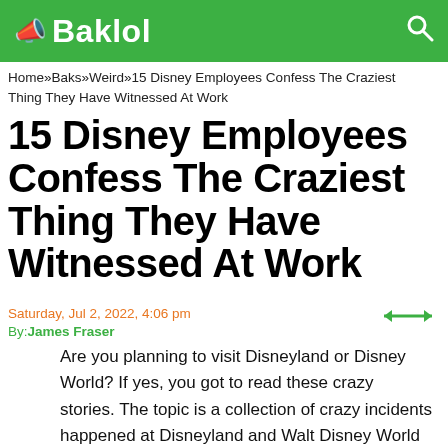Baklol
Home»Baks»Weird»15 Disney Employees Confess The Craziest Thing They Have Witnessed At Work
15 Disney Employees Confess The Craziest Thing They Have Witnessed At Work
Saturday, Jul 2, 2022, 4:06 pm
By:James Fraser
Are you planning to visit Disneyland or Disney World? If yes, you got to read these crazy stories. The topic is a collection of crazy incidents happened at Disneyland and Walt Disney World Resort, shared by Disney employees. It helps you see Disneyland from a